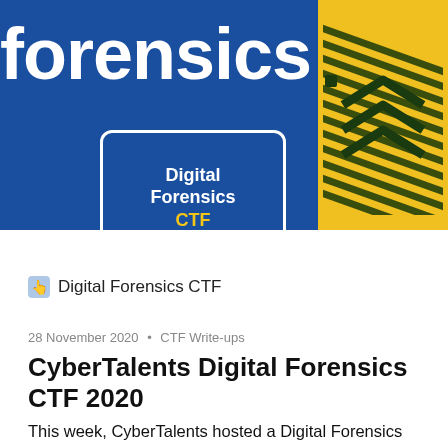[Figure (illustration): Blue banner with large white text reading 'forensics', a yellow block on the right with dark diagonal arrow/stripe pattern, and a white-bordered card with dark blue background showing 'Digital Forensics CTF' in white and yellow text.]
Digital Forensics CTF
28 November 2020 • CTF Write-ups
CyberTalents Digital Forensics CTF 2020
This week, CyberTalents hosted a Digital Forensics CTF that was quite fun with challenges in many different